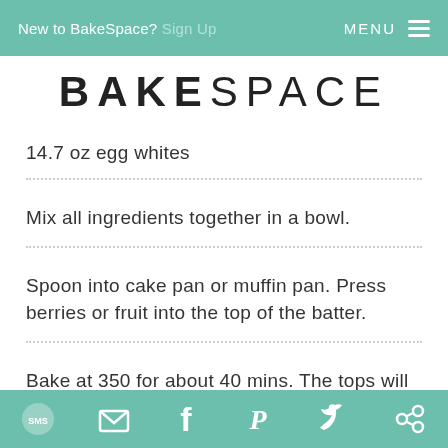New to BakeSpace? Sign Up   MENU ≡
BAKESPACE
14.7 oz egg whites
Mix all ingredients together in a bowl.
Spoon into cake pan or muffin pan. Press berries or fruit into the top of the batter.
Bake at 350 for about 40 mins. The tops will be a
SMS  Email  Facebook  Pinterest  Twitter  Share